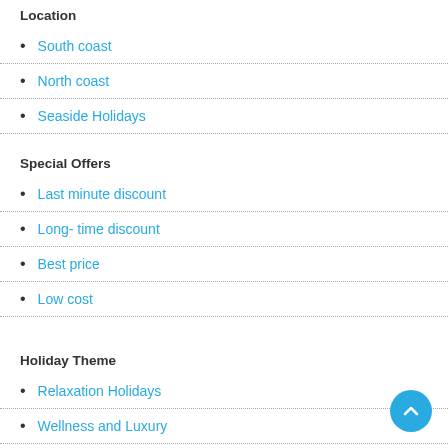Location
South coast
North coast
Seaside Holidays
Special Offers
Last minute discount
Long- time discount
Best price
Low cost
Holiday Theme
Relaxation Holidays
Wellness and Luxury
Group tour